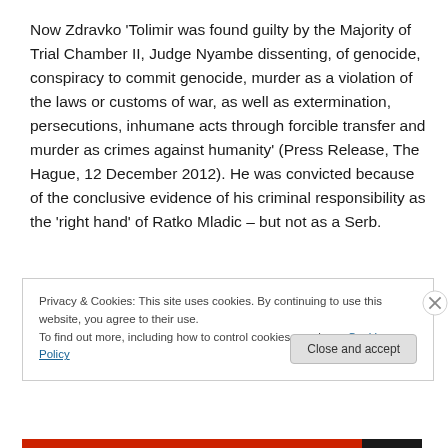Now Zdravko 'Tolimir was found guilty by the Majority of Trial Chamber II, Judge Nyambe dissenting, of genocide, conspiracy to commit genocide, murder as a violation of the laws or customs of war, as well as extermination, persecutions, inhumane acts through forcible transfer and murder as crimes against humanity' (Press Release, The Hague, 12 December 2012). He was convicted because of the conclusive evidence of his criminal responsibility as the 'right hand' of Ratko Mladic – but not as a Serb.
Privacy & Cookies: This site uses cookies. By continuing to use this website, you agree to their use.
To find out more, including how to control cookies, see here: Cookie Policy